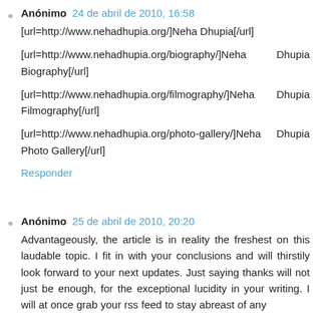Anónimo 24 de abril de 2010, 16:58
[url=http://www.nehadhupia.org/]Neha Dhupia[/url]
[url=http://www.nehadhupia.org/biography/]Neha Dhupia Biography[/url]
[url=http://www.nehadhupia.org/filmography/]Neha Dhupia Filmography[/url]
[url=http://www.nehadhupia.org/photo-gallery/]Neha Dhupia Photo Gallery[/url]
Responder
Anónimo 25 de abril de 2010, 20:20
Advantageously, the article is in reality the freshest on this laudable topic. I fit in with your conclusions and will thirstily look forward to your next updates. Just saying thanks will not just be enough, for the exceptional lucidity in your writing. I will at once grab your rss feed to stay abreast of any updates. Authentic